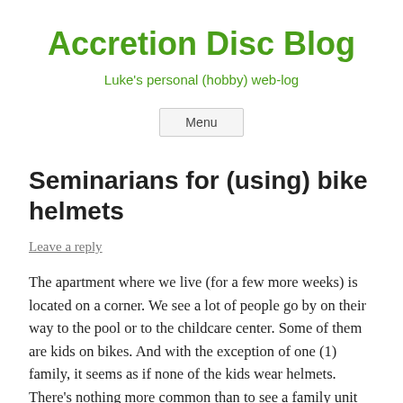Accretion Disc Blog
Luke's personal (hobby) web-log
Menu
Seminarians for (using) bike helmets
Leave a reply
The apartment where we live (for a few more weeks) is located on a corner. We see a lot of people go by on their way to the pool or to the childcare center. Some of them are kids on bikes. And with the exception of one (1) family, it seems as if none of the kids wear helmets. There's nothing more common than to see a family unit walk by in the morning or afternoon on their way to or from day care, with